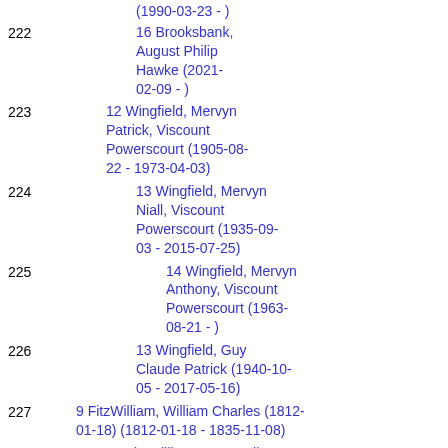(1990-03-23 - )
222   16 Brooksbank, August Philip Hawke (2021-02-09 - )
223   12 Wingfield, Mervyn Patrick, Viscount Powerscourt (1905-08-22 - 1973-04-03)
224   13 Wingfield, Mervyn Niall, Viscount Powerscourt (1935-09-03 - 2015-07-25)
225   14 Wingfield, Mervyn Anthony, Viscount Powerscourt (1963-08-21 - )
226   13 Wingfield, Guy Claude Patrick (1940-10-05 - 2017-05-16)
227   9 FitzWilliam, William Charles (1812-01-18) (1812-01-18 - 1835-11-08)
228   10 FitzWilliam, Mary Selina Charlotte ( - 1899-01-04)